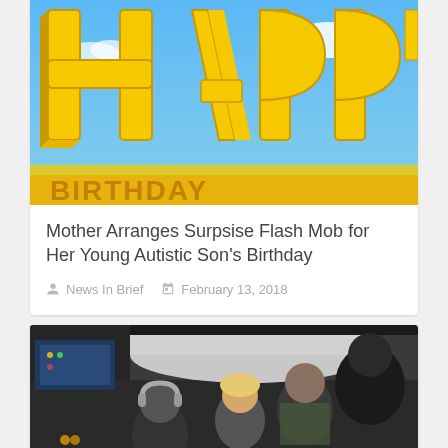[Figure (photo): Yellow 3D block letters spelling HAPPY on a blue sky background with clouds]
Mother Arranges Surpsise Flash Mob for Her Young Autistic Son's Birthday
News In Brief   February 13, 2018
[Figure (photo): Interior of an airplane cabin with passengers standing in the aisle, a woman with headphones visible in the foreground]